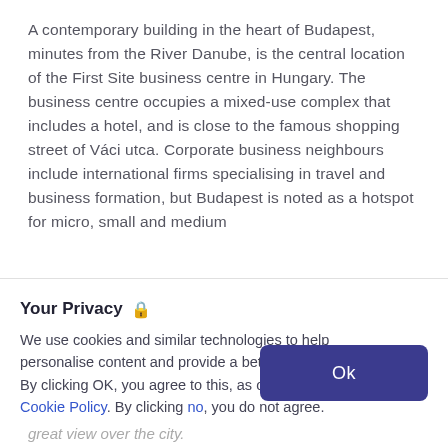A contemporary building in the heart of Budapest, minutes from the River Danube, is the central location of the First Site business centre in Hungary. The business centre occupies a mixed-use complex that includes a hotel, and is close to the famous shopping street of Váci utca. Corporate business neighbours include international firms specialising in travel and business formation, but Budapest is noted as a hotspot for micro, small and medium
Your Privacy 🔒
We use cookies and similar technologies to help personalise content and provide a better experience. By clicking OK, you agree to this, as outlined in our Cookie Policy. By clicking no, you do not agree.
great view over the city.